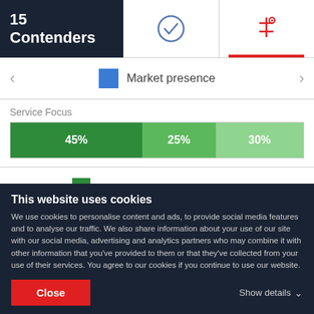15 Contenders
[Figure (other): Checkmark icon in circle (tab icon)]
[Figure (other): Filter/settings icon with red underline (active tab icon)]
Market presence
Service Focus
[Figure (stacked-bar-chart): Service Focus]
Branding & Marketing Strategy
This website uses cookies
We use cookies to personalise content and ads, to provide social media features and to analyse our traffic. We also share information about your use of our site with our social media, advertising and analytics partners who may combine it with other information that you've provided to them or that they've collected from your use of their services. You agree to our cookies if you continue to use our website.
Close
Show details